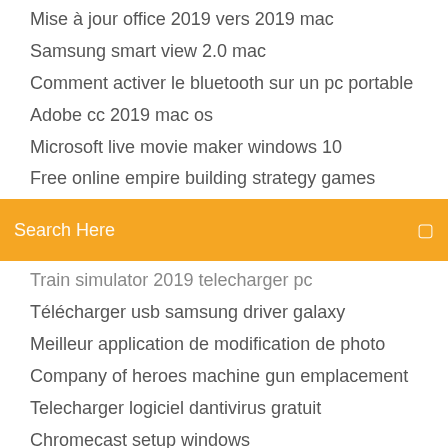Mise à jour office 2019 vers 2019 mac
Samsung smart view 2.0 mac
Comment activer le bluetooth sur un pc portable
Adobe cc 2019 mac os
Microsoft live movie maker windows 10
Free online empire building strategy games
[Figure (screenshot): Orange search bar with text 'Search Here' and a search icon on the right]
Train simulator 2019 telecharger pc
Télécharger usb samsung driver galaxy
Meilleur application de modification de photo
Company of heroes machine gun emplacement
Telecharger logiciel dantivirus gratuit
Chromecast setup windows
Telecharger vlc 32 bits windows xp gratuit
Windows 10 upgrade advisor app mobile
Itunes latest version télécharger for mac
Vmware fusion for windows
Publier gif animé sur facebook